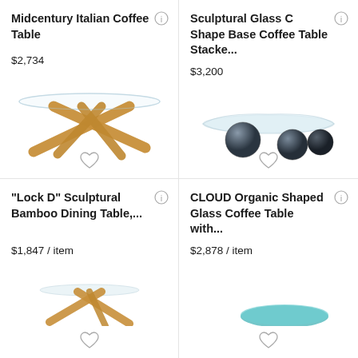Midcentury Italian Coffee Table
$2,734
[Figure (photo): Midcentury Italian coffee table with wooden cross-leg base and round glass top]
Sculptural Glass C Shape Base Coffee Table Stacke...
$3,200
[Figure (photo): Sculptural glass coffee table with dark sphere ball legs supporting an organic shaped glass top]
“Lock D” Sculptural Bamboo Dining Table,...
$1,847 / item
CLOUD Organic Shaped Glass Coffee Table with...
$2,878 / item